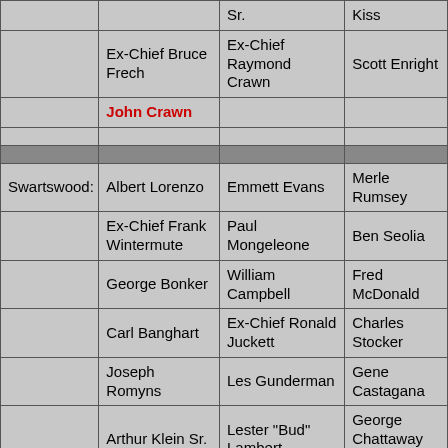|  |  | Sr. | Kiss |
|  | Ex-Chief Bruce Frech | Ex-Chief Raymond Crawn | Scott Enright |
|  | John Crawn |  |  |
|  |  |  |  |
|  |  |  |  |
| Swartswood: | Albert Lorenzo | Emmett Evans | Merle Rumsey |
|  | Ex-Chief Frank Wintermute | Paul Mongeleone | Ben Seolia |
|  | George Bonker | William Campbell | Fred McDonald |
|  | Carl Banghart | Ex-Chief Ronald Juckett | Charles Stocker |
|  | Joseph Romyns | Les Gunderman | Gene Castagana |
|  | Arthur Klein Sr. | Lester "Bud" Lambert | George Chattaway Sr. |
|  | Ex-Chief Michael Peragino | Alan Frazier | Frank Zweig |